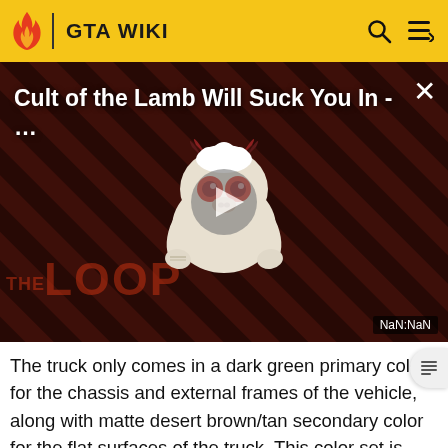GTA WIKI
[Figure (screenshot): Video thumbnail for 'Cult of the Lamb Will Suck You In - ...' with a diagonal striped red/dark background, a cartoon lamb character with devil horns and glowing red eyes, a play button overlay, The Loop watermark, and NaN:NaN duration label]
The truck only comes in a dark green primary color for the chassis and external frames of the vehicle, along with matte desert brown/tan secondary color for the flat surfaces of the truck. This color set is fixed for the truck and cannot be changes through mod shops (unless